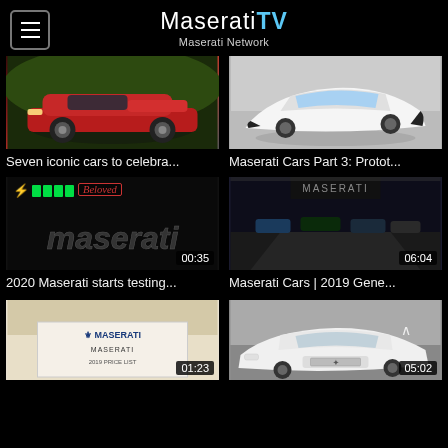MaseratiTV — Maserati Network
[Figure (screenshot): Red Maserati GranTurismo on road — video thumbnail]
[Figure (screenshot): White Maserati concept prototype car — video thumbnail]
Seven iconic cars to celebra...
Maserati Cars Part 3: Protot...
[Figure (screenshot): Dark Maserati logo closeup with battery and Beloved overlay — video thumbnail, duration 00:35]
[Figure (screenshot): Maserati showroom/auto show display with multiple cars — video thumbnail, duration 06:04]
2020 Maserati starts testing...
Maserati Cars | 2019 Gene...
[Figure (screenshot): Maserati 2019 price list document — video thumbnail, duration 01:23]
[Figure (screenshot): White Maserati Quattroporte front — video thumbnail, duration 05:02]